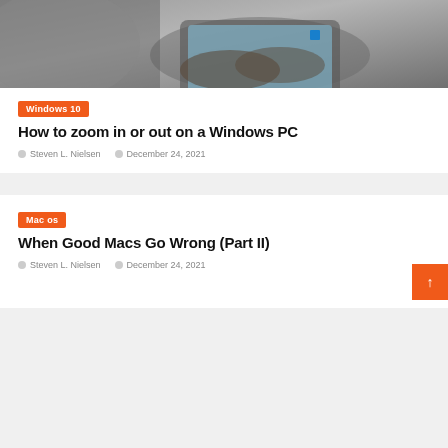[Figure (photo): Person typing on a laptop showing Windows 11 interface, viewed from above]
Windows 10
How to zoom in or out on a Windows PC
Steven L. Nielsen   December 24, 2021
Mac os
When Good Macs Go Wrong (Part II)
Steven L. Nielsen   December 24, 2021